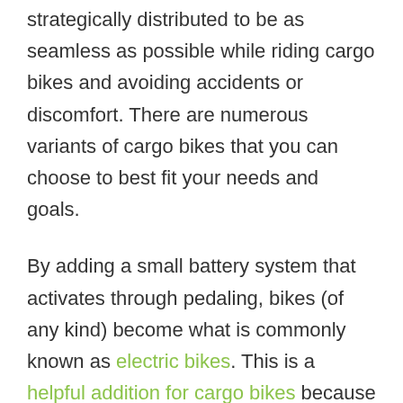strategically distributed to be as seamless as possible while riding cargo bikes and avoiding accidents or discomfort. There are numerous variants of cargo bikes that you can choose to best fit your needs and goals.
By adding a small battery system that activates through pedaling, bikes (of any kind) become what is commonly known as electric bikes. This is a helpful addition for cargo bikes because it aids in lowering efforts, making the transportation of goods a seamless process. There are also different types of electric bikes you can choose from.